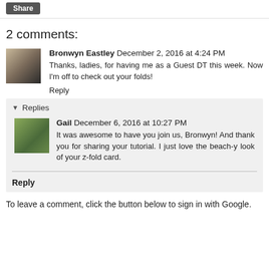Share
2 comments:
Bronwyn Eastley December 2, 2016 at 4:24 PM
Thanks, ladies, for having me as a Guest DT this week. Now I'm off to check out your folds!
Reply
Replies
Gail December 6, 2016 at 10:27 PM
It was awesome to have you join us, Bronwyn! And thank you for sharing your tutorial. I just love the beach-y look of your z-fold card.
Reply
To leave a comment, click the button below to sign in with Google.